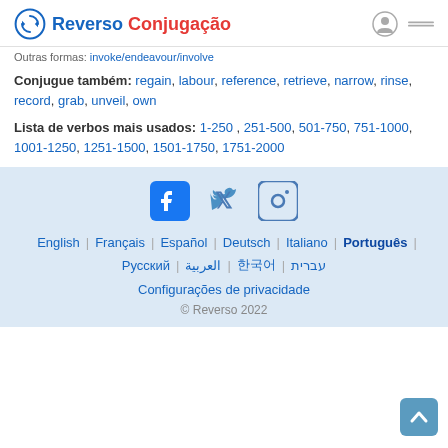Reverso Conjugação
Outras formas: invoke/endeavour/involve
Conjugue também: regain, labour, reference, retrieve, narrow, rinse, record, grab, unveil, own
Lista de verbos mais usados: 1-250, 251-500, 501-750, 751-1000, 1001-1250, 1251-1500, 1501-1750, 1751-2000
[Figure (logo): Social media icons: Facebook, Twitter, Instagram]
English | Français | Español | Deutsch | Italiano | Português | Русский | العربية | 한국어 | עברית
Configurações de privacidade
© Reverso 2022